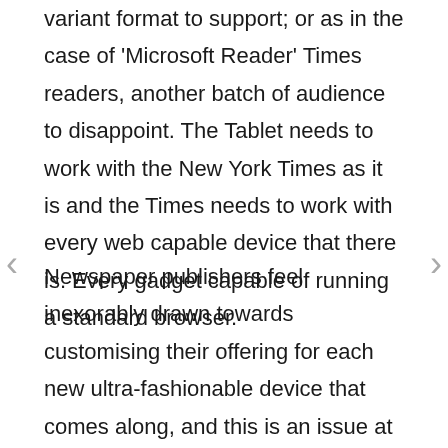variant format to support; or as in the case of 'Microsoft Reader' Times readers, another batch of audience to disappoint. The Tablet needs to work with the New York Times as it is and the Times needs to work with every web capable device that there is. Every gadget capable of running a standard browser.
Newspaper publishers feel inexorably drawn towards customising their offering for each new ultra-fashionable device that comes along, and this is an issue at the core of their current dilemma (or their owners acutely sharpening current financial dilemma). The last time I counted: the Guardian (my favourite newspaper) was trying to optimize its